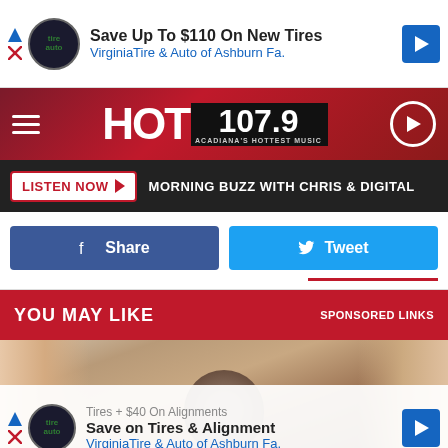[Figure (screenshot): Advertisement banner: Save Up To $110 On New Tires, VirginiaTire & Auto of Ashburn Fa.]
[Figure (logo): HOT 107.9 radio station header logo with hamburger menu and play button]
LISTEN NOW  MORNING BUZZ WITH CHRIS & DIGITAL
Share
Tweet
YOU MAY LIKE
SPONSORED LINKS
[Figure (photo): Cat sitting between two human arms/legs, looking at camera, bathroom background]
Tires + $40 On Alignments
Save on Tires & Alignment
VirginiaTire & Auto of Ashburn Fa.